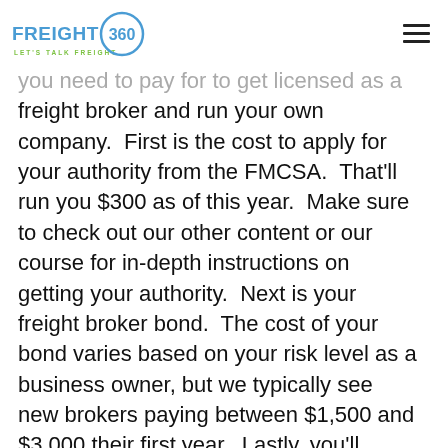FREIGHT 360 — LET'S TALK FREIGHT (logo and navigation)
you need to pay for to get licensed as a freight broker and run your own company.  First is the cost to apply for your authority from the FMCSA.  That'll run you $300 as of this year.  Make sure to check out our other content or our course for in-depth instructions on getting your authority.  Next is your freight broker bond.  The cost of your bond varies based on your risk level as a business owner, but we typically see new brokers paying between $1,500 and $3,000 their first year.  Lastly, you'll likely want to pay a process agent company to serve as your process agent